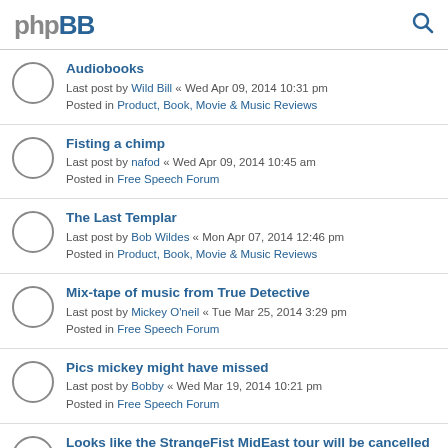phpBB
Audiobooks
Last post by Wild Bill « Wed Apr 09, 2014 10:31 pm
Posted in Product, Book, Movie & Music Reviews
Fisting a chimp
Last post by nafod « Wed Apr 09, 2014 10:45 am
Posted in Free Speech Forum
The Last Templar
Last post by Bob Wildes « Mon Apr 07, 2014 12:46 pm
Posted in Product, Book, Movie & Music Reviews
Mix-tape of music from True Detective
Last post by Mickey O'neil « Tue Mar 25, 2014 3:29 pm
Posted in Free Speech Forum
Pics mickey might have missed
Last post by Bobby « Wed Mar 19, 2014 10:21 pm
Posted in Free Speech Forum
Looks like the StrangeFist MidEast tour will be cancelled
Last post by Turdacious « Fri Mar 14, 2014 11:25 pm
Posted in Free Speech Forum
The latest travisty of the Presidency
Last post by Thud « Fri Mar 14, 2014 6:50 pm
Posted in Free Speech Forum